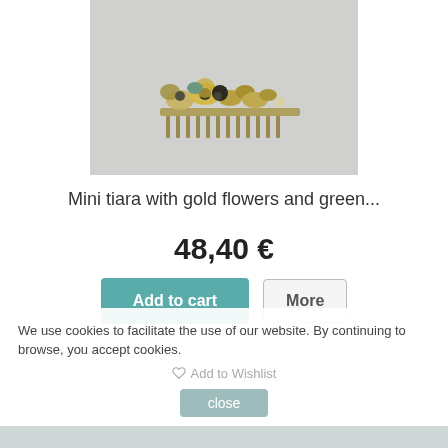[Figure (photo): Product photo of a decorative hair comb/tiara with gold metallic flowers and green gemstone accents on a light gray background.]
Mini tiara with gold flowers and green...
48,40 €
Add to cart
More
We use cookies to facilitate the use of our website. By continuing to browse, you accept cookies.
Add to Wishlist
close